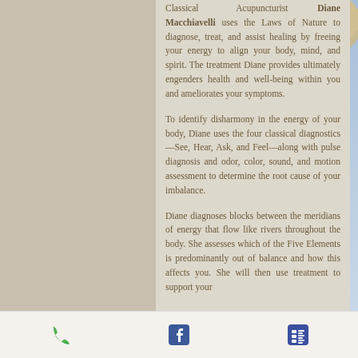Classical Acupuncturist Diane Macchiavelli uses the Laws of Nature to diagnose, treat, and assist healing by freeing your energy to align your body, mind, and spirit. The treatment Diane provides ultimately engenders health and well-being within you and ameliorates your symptoms.
To identify disharmony in the energy of your body, Diane uses the four classical diagnostics—See, Hear, Ask, and Feel—along with pulse diagnosis and odor, color, sound, and motion assessment to determine the root cause of your imbalance.
Diane diagnoses blocks between the meridians of energy that flow like rivers throughout the body. She assesses which of the Five Elements is predominantly out of balance and how this affects you. She will then use treatment to support your
[Figure (photo): Photo of decorative bell/lantern object against blue sky background]
Phone icon | Facebook icon | Menu icon